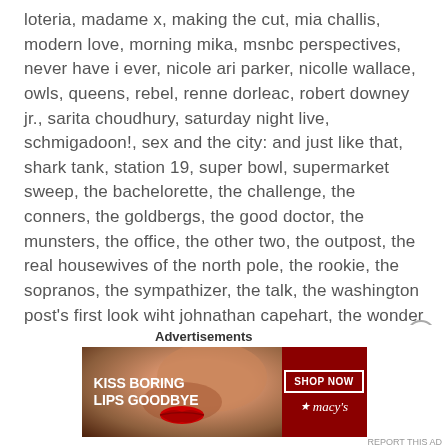loteria, madame x, making the cut, mia challis, modern love, morning mika, msnbc perspectives, never have i ever, nicole ari parker, nicolle wallace, owls, queens, rebel, renne dorleac, robert downey jr., sarita choudhury, saturday night live, schmigadoon!, sex and the city: and just like that, shark tank, station 19, super bowl, supermarket sweep, the bachelorette, the challenge, the conners, the goldbergs, the good doctor, the munsters, the office, the other two, the outpost, the real housewives of the north pole, the rookie, the sopranos, the sympathizer, the talk, the washington post's first look wiht johnathan capehart, the wonder years, titans, wakefield, watch this, what we do in the shadows, y: the last man      leave a comment
Advertisements
[Figure (photo): Macy's advertisement banner showing a woman's face with red lips, text 'KISS BORING LIPS GOODBYE' on left, 'SHOP NOW' button and Macy's star logo on red right panel]